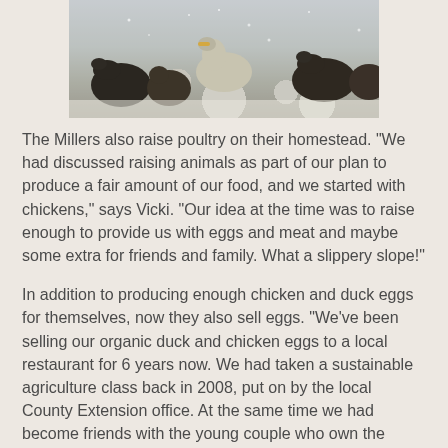[Figure (photo): Photo of poultry (ducks/chickens) standing in snow, cropped at top of page]
The Millers also raise poultry on their homestead. "We had discussed raising animals as part of our plan to produce a fair amount of our food, and we started with chickens," says Vicki. "Our idea at the time was to raise enough to provide us with eggs and meat and maybe some extra for friends and family. What a slippery slope!"
In addition to producing enough chicken and duck eggs for themselves, now they also sell eggs. "We've been selling our organic duck and chicken eggs to a local restaurant for 6 years now. We had taken a sustainable agriculture class back in 2008, put on by the local County Extension office. At the same time we had become friends with the young couple who own the restaurant in town, and once they tasted our eggs, they asked if they could buy them from us. We found out that in Washington, you have to have an Egg Dealer's License to sell eggs wholesale. We had the license within a